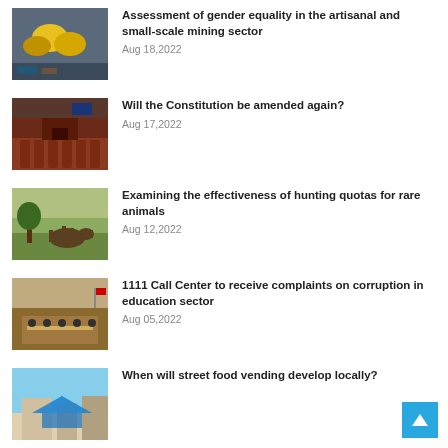[Figure (photo): Mining equipment - yellow hard hats or machinery]
Assessment of gender equality in the artisanal and small-scale mining sector
Aug 18,2022
[Figure (photo): Government building interior with red and dark wood decor]
Will the Constitution be amended again?
Aug 17,2022
[Figure (photo): Wildlife - deer or horses in a field]
Examining the effectiveness of hunting quotas for rare animals
Aug 12,2022
[Figure (photo): Meeting room with officials at a table]
1111 Call Center to receive complaints on corruption in education sector
Aug 05,2022
[Figure (photo): Street scene with blue tent and buildings]
When will street food vending develop locally?